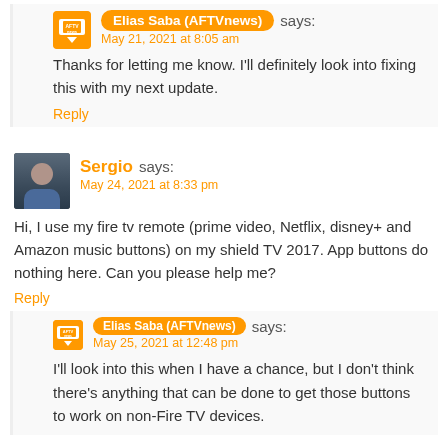[Figure (illustration): AFTVnews logo avatar (orange rounded square with TV icon and text)]
Elias Saba (AFTVnews) says:
May 21, 2021 at 8:05 am
Thanks for letting me know. I'll definitely look into fixing this with my next update.
Reply
[Figure (photo): Sergio user avatar photo, man in blue shirt]
Sergio says:
May 24, 2021 at 8:33 pm
Hi, I use my fire tv remote (prime video, Netflix, disney+ and Amazon music buttons) on my shield TV 2017. App buttons do nothing here. Can you please help me?
Reply
[Figure (illustration): AFTVnews logo avatar (orange rounded square with TV icon and text)]
Elias Saba (AFTVnews) says:
May 25, 2021 at 12:48 pm
I'll look into this when I have a chance, but I don't think there's anything that can be done to get those buttons to work on non-Fire TV devices.